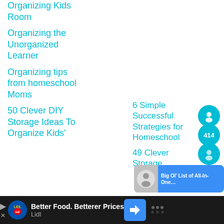Organizing Kids Room
Organizing the Unorganized Learner
Organizing tips from homeschool Moms
50 Clever DIY Storage Ideas To Organize Kids'
6 Simple Successful Strategies for Homeschool
49 Clever Storage
[Figure (infographic): Teal circular badge/pin icon with smiley face and number 414]
[Figure (infographic): Advertisement bar: Lidl - Better Food. Betterer Prices]